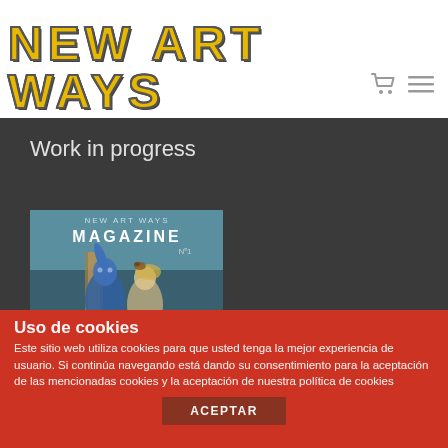NEW ART WAYS
Work in progress
[Figure (illustration): New Art Ways Magazine cover No 1 with illustrated fantasy characters]
Uso de cookies
Este sitio web utiliza cookies para que usted tenga la mejor experiencia de usuario. Si continúa navegando está dando su consentimiento para la aceptación de las mencionadas cookies y la aceptación de nuestra política de cookies
ACEPTAR